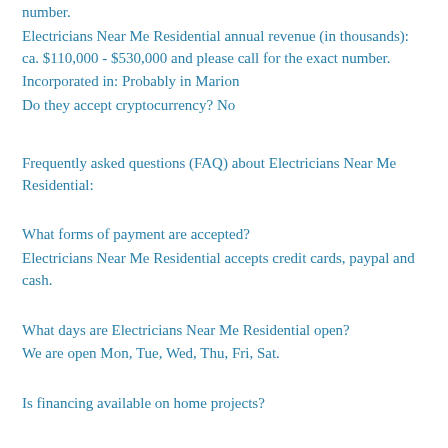number.
Electricians Near Me Residential annual revenue (in thousands): ca. $110,000 - $530,000 and please call for the exact number.
Incorporated in: Probably in Marion
Do they accept cryptocurrency? No
Frequently asked questions (FAQ) about Electricians Near Me Residential:
What forms of payment are accepted?
Electricians Near Me Residential accepts credit cards, paypal and cash.
What days are Electricians Near Me Residential open?
We are open Mon, Tue, Wed, Thu, Fri, Sat.
Is financing available on home projects?